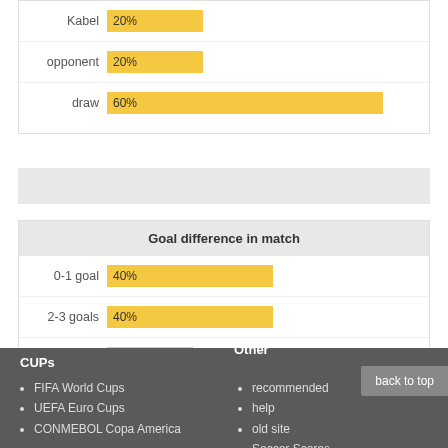[Figure (bar-chart): ]
[Figure (bar-chart): Goal difference in match]
CUPs
FIFA World Cups
UEFA Euro Cups
CONMEBOL Copa America
Other
recommended
help
old site
Soccer Scores